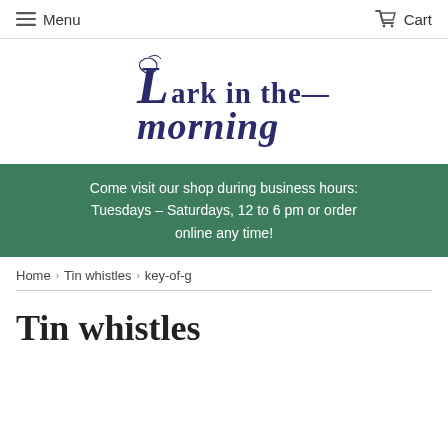Menu   Cart
[Figure (logo): Lark in the Morning Celtic-style logo with ornate lettering]
Come visit our shop during business hours: Tuesdays – Saturdays, 12 to 6 pm or order online any time!
Home › Tin whistles › key-of-g
Tin whistles